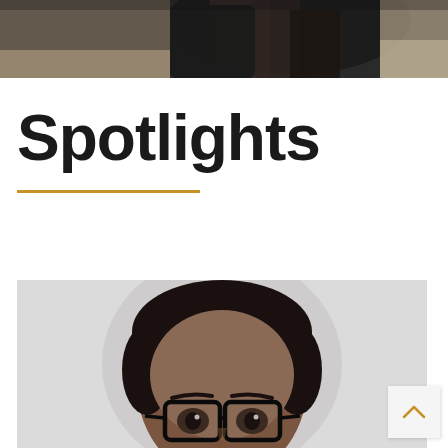[Figure (photo): Partial top image showing hands holding a device, with blurred background — cropped at top of page]
Spotlights
[Figure (photo): Portrait photo of a person with short dark hair wearing black-framed glasses, against a light grey background — cropped at bottom of page]
[Figure (other): Back-to-top navigation button with upward chevron arrow]